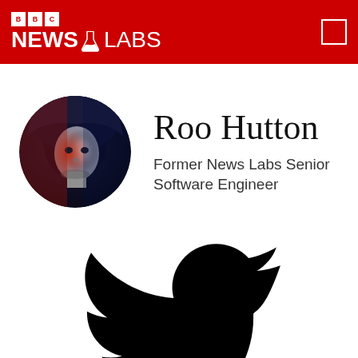BBC NEWS LABS
Roo Hutton
Former News Labs Senior Software Engineer
[Figure (logo): Twitter bird logo in black silhouette, large, centered on lower half of page]